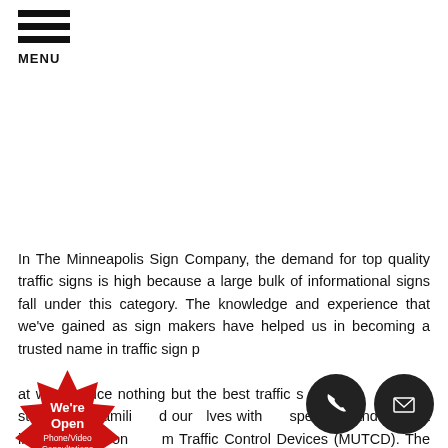MENU
In The Minneapolis Sign Company, the demand for top quality traffic signs is high because a large bulk of informational signs fall under this category. The knowledge and experience that we've gained as sign makers have helped us in becoming a trusted name in traffic sign p[roduction...] ...at we produce nothing but the best traffic s[igns. We have] carefully studied and famili[arized ours]elves with [...] specific standards set in the Ma[nual on Uni]form Traffic Control Devices (MUTCD). The Minneapolis Sign...
[Figure (other): Red starburst badge with text 'We're Open Phone/Video Consultations Available']
[Figure (other): Black circle with white phone icon]
[Figure (other): Black circle with white mail/envelope icon]